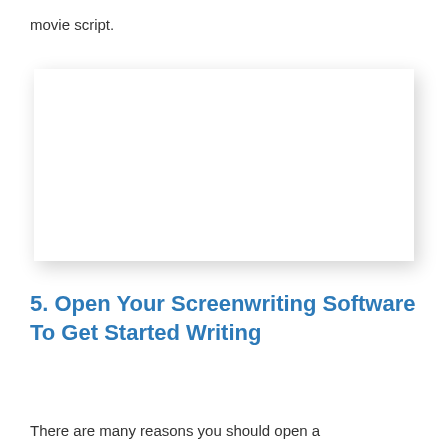movie script.
[Figure (other): Blank white rectangular image placeholder with drop shadow]
5. Open Your Screenwriting Software To Get Started Writing
There are many reasons you should open a